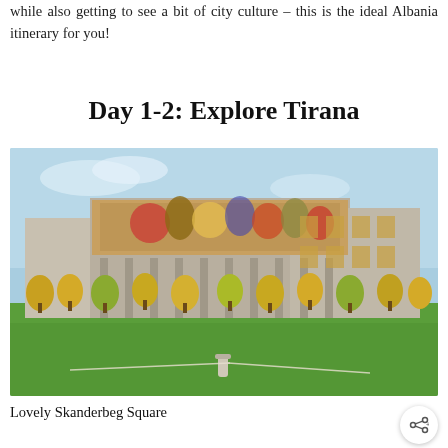while also getting to see a bit of city culture – this is the ideal Albania itinerary for you!
Day 1-2: Explore Tirana
[Figure (photo): Photograph of Skanderbeg Square in Tirana, Albania, showing the National History Museum building with its large mosaic mural on the facade, surrounded by green lawn and trees under a blue sky.]
Lovely Skanderbeg Square